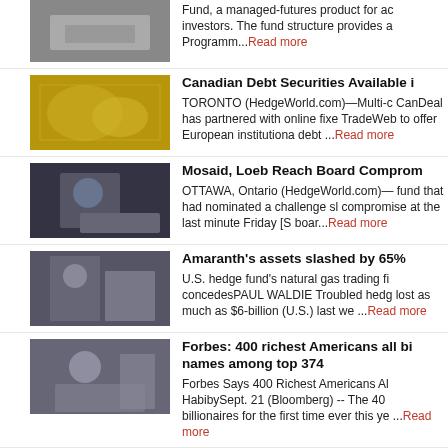[Figure (photo): Hands working, managed futures product photo]
Fund, a managed-futures product for ac investors. The fund structure provides a Programm...Read more
[Figure (photo): Gold world map photo]
Canadian Debt Securities Available i
TORONTO (HedgeWorld.com)—Multi-c CanDeal has partnered with online fixe TradeWeb to offer European institutiona debt ...Read more
[Figure (photo): Business person with documents photo]
Mosaid, Loeb Reach Board Comprom
OTTAWA, Ontario (HedgeWorld.com)— fund that had nominated a challenge sl compromise at the last minute Friday [S boar...Read more
[Figure (photo): Man in suit with boxes photo]
Amaranth's assets slashed by 65%
U.S. hedge fund's natural gas trading fi concedesPAUL WALDIE Troubled hedg lost as much as $6-billion (U.S.) last we ...Read more
[Figure (photo): Business woman with binder photo]
Forbes: 400 richest Americans all bi names among top 374
Forbes Says 400 Richest Americans Al HabibySept. 21 (Bloomberg) -- The 40 billionaires for the first time ever this ye ...Read more
[Figure (photo): Business people at meeting photo]
Hedge Funds Withdraw SEC Registra Rule
By Jesse WestbrookSept. 22 (Bloomber